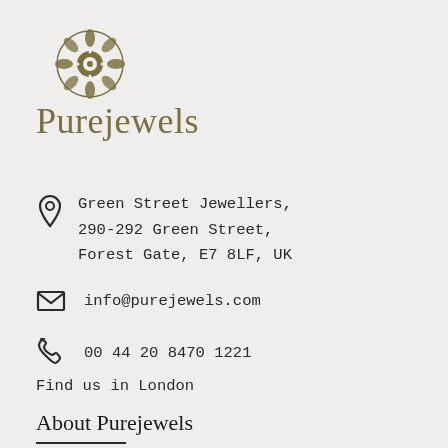[Figure (logo): Purejewels logo with decorative floral/rosette emblem above the brand name in olive/gold color]
Green Street Jewellers,
290-292 Green Street,
Forest Gate, E7 8LF, UK
info@purejewels.com
00 44 20 8470 1221
Find us in London
About Purejewels
About Us